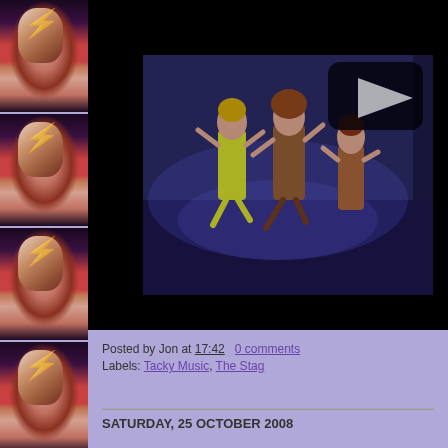[Figure (photo): Left sidebar with four repeating David Bowie Aladdin Sane album cover face portraits stacked vertically, glam rock lightning bolt makeup, red and blue styled face, on purple/lavender background]
[Figure (screenshot): Embedded video thumbnail showing performers dancing on a stage with colorful costumes, blue/purple stage lighting, black background, with a YouTube-style play button overlay in the upper right]
Posted by Jon at 17:42    0 comments
Labels: Tacky Music, The Stag
SATURDAY, 25 OCTOBER 2008